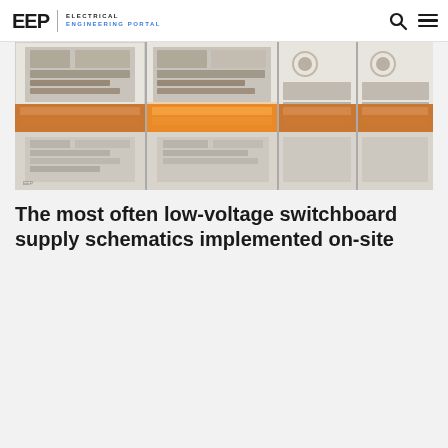EEP — Electrical Engineering Portal
[Figure (photo): Interior of a low-voltage switchboard panel showing copper busbars and wiring across multiple compartments]
The most often low-voltage switchboard supply schematics implemented on-site